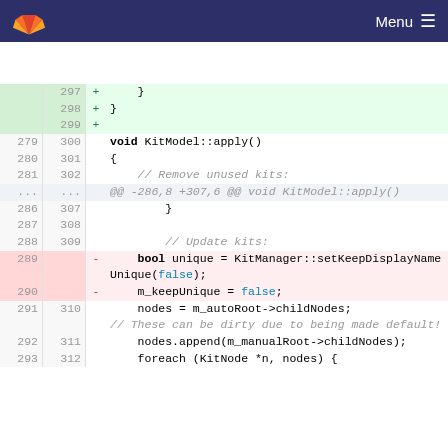GitLab — Menu
[Figure (screenshot): Code diff view showing changes to KitModel::apply() function in a C++ file. Lines 279-293 (old) and 298-312 (new) are shown. Added lines (green background): 298 '+ }', 299 '+'. Context lines show void KitModel::apply(), opening brace, comment '// Remove unused kits:', hunk header '@@ -286,8 +307,6 @@ void KitModel::apply()', closing brace, blank lines, '// Update kits:'. Removed lines (red background): 289 '- bool unique = KitManager::setKeepDisplayNameUnique(false);', 290 '- m_keepUnique = false;'. Context lines: 291/310 'nodes = m_autoRoot->childNodes;', comment '// These can be dirty due to being made default!', 292/311 'nodes.append(m_manualRoot->childNodes);', 293/312 'foreach (KitNode *n, nodes) {'.]